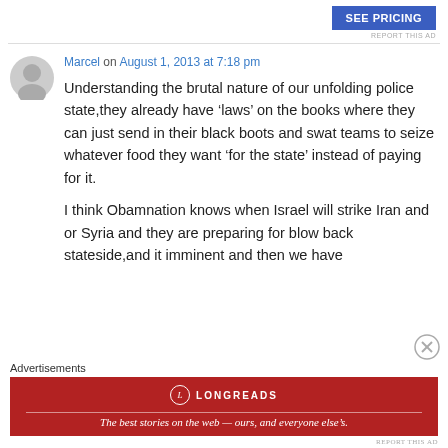[Figure (other): SEE PRICING button advertisement]
REPORT THIS AD
Marcel on August 1, 2013 at 7:18 pm
Understanding the brutal nature of our unfolding police state,they already have ‘laws’ on the books where they can just send in their black boots and swat teams to seize whatever food they want ‘for the state’ instead of paying for it.

I think Obamnation knows when Israel will strike Iran and or Syria and they are preparing for blow back stateside,and it imminent and then we have
Advertisements
[Figure (other): Longreads advertisement: The best stories on the web — ours, and everyone else's.]
REPORT THIS AD